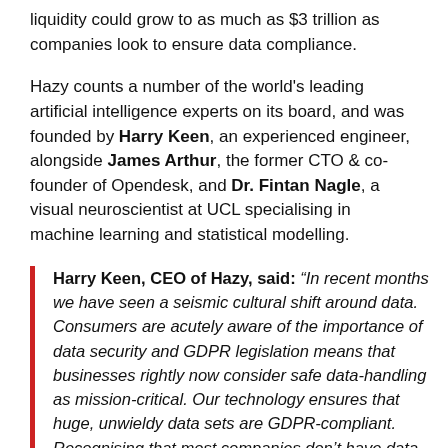liquidity could grow to as much as $3 trillion as companies look to ensure data compliance.
Hazy counts a number of the world's leading artificial intelligence experts on its board, and was founded by Harry Keen, an experienced engineer, alongside James Arthur, the former CTO & co-founder of Opendesk, and Dr. Fintan Nagle, a visual neuroscientist at UCL specialising in machine learning and statistical modelling.
Harry Keen, CEO of Hazy, said: "In recent months we have seen a seismic cultural shift around data. Consumers are acutely aware of the importance of data security and GDPR legislation means that businesses rightly now consider safe data-handling as mission-critical. Our technology ensures that huge, unwieldy data sets are GDPR-compliant. Recognising that most companies don't have data experts, Hazy has been built to require